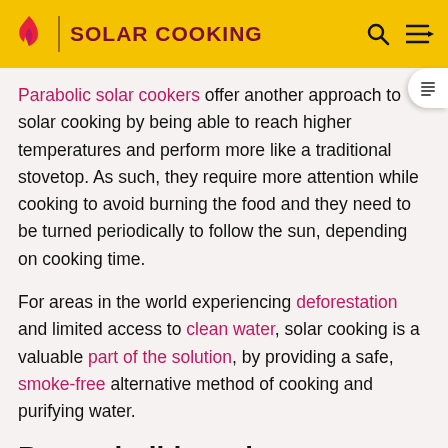SOLAR COOKING
Parabolic solar cookers offer another approach to solar cooking by being able to reach higher temperatures and perform more like a traditional stovetop. As such, they require more attention while cooking to avoid burning the food and they need to be turned periodically to follow the sun, depending on cooking time.
For areas in the world experiencing deforestation and limited access to clean water, solar cooking is a valuable part of the solution, by providing a safe, smoke-free alternative method of cooking and purifying water.
Buy or build a solar cooker?
If you would like to build a cooker, visit the build a solar